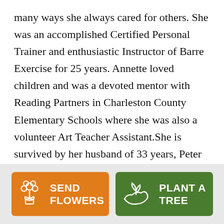many ways she always cared for others. She was an accomplished Certified Personal Trainer and enthusiastic Instructor of Barre Exercise for 25 years. Annette loved children and was a devoted mentor with Reading Partners in Charleston County Elementary Schools where she was also a volunteer Art Teacher Assistant.She is survived by her husband of 33 years, Peter of Charleston, SC; mother, Rose Marie Gallo of Pompton Lakes, NJ; daughter, Taryn Rose Mani; son, Peter "Drew" Mani both of Charleston, SC; brothers: Thomas Gallo (Joseph Merante) of New York, NY and
[Figure (other): Two action buttons: 'SEND FLOWERS' (orange background with flower icon) and 'PLANT A TREE' (green background with plant/hand icon)]